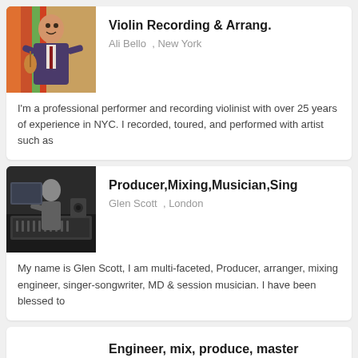[Figure (photo): Photo of Ali Bello, a violinist in suit holding a violin, colorful background]
Violin Recording & Arrang.
Ali Bello  ,  New York
I'm a professional performer and recording violinist with over 25 years of experience in NYC. I recorded, toured, and performed with artist such as
[Figure (photo): Black and white photo of Glen Scott working at a music studio keyboard/production setup]
Producer,Mixing,Musician,Sing
Glen Scott  ,  London
My name is Glen Scott, I am multi-faceted, Producer, arranger, mixing engineer, singer-songwriter, MD & session musician. I have been blessed to
Engineer, mix, produce, master
Dennis Rivadeneira  ,  New York